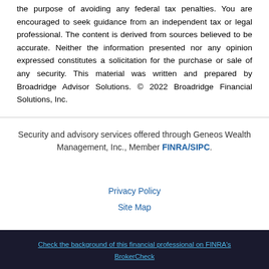the purpose of avoiding any federal tax penalties. You are encouraged to seek guidance from an independent tax or legal professional. The content is derived from sources believed to be accurate. Neither the information presented nor any opinion expressed constitutes a solicitation for the purchase or sale of any security. This material was written and prepared by Broadridge Advisor Solutions. © 2022 Broadridge Financial Solutions, Inc.
Security and advisory services offered through Geneos Wealth Management, Inc., Member FINRA/SIPC.
Privacy Policy
Site Map
Check the background of this financial professional on FINRA's BrokerCheck